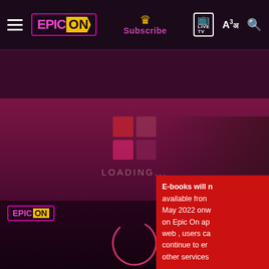[Figure (screenshot): Epic On streaming platform UI showing top navigation bar with hamburger menu, Epic On logo, Subscribe button with crown icon, Live TV icon, language switcher (A3), and search icon.]
[Figure (screenshot): Secondary navigation bar with HOME, WATCH (highlighted in yellow), LISTEN, and PLAY options with respective icons.]
[Figure (screenshot): Main content area showing a loading screen with Windows-like four-square loader icon, LOADING... text, Epic On logo bottom-left, a spinning circle loader, and a red notification box at bottom-right.]
E-books will n available fron May 2022 onw on Epic On ap web , users ca continue to er other services